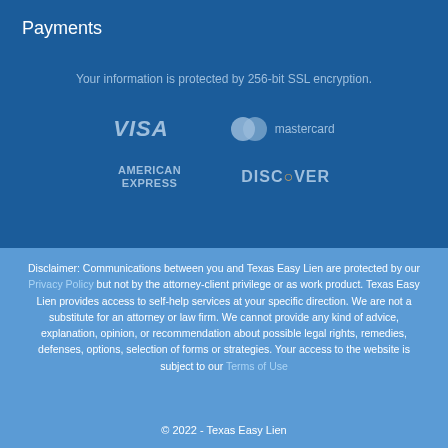Payments
Your information is protected by 256-bit SSL encryption.
[Figure (logo): VISA logo (italic bold text in muted blue)]
[Figure (logo): Mastercard logo (two overlapping circles and mastercard text)]
[Figure (logo): AMERICAN EXPRESS logo in muted blue text]
[Figure (logo): DISCOVER logo in muted blue text]
Disclaimer: Communications between you and Texas Easy Lien are protected by our Privacy Policy but not by the attorney-client privilege or as work product. Texas Easy Lien provides access to self-help services at your specific direction. We are not a substitute for an attorney or law firm. We cannot provide any kind of advice, explanation, opinion, or recommendation about possible legal rights, remedies, defenses, options, selection of forms or strategies. Your access to the website is subject to our Terms of Use
© 2022 - Texas Easy Lien